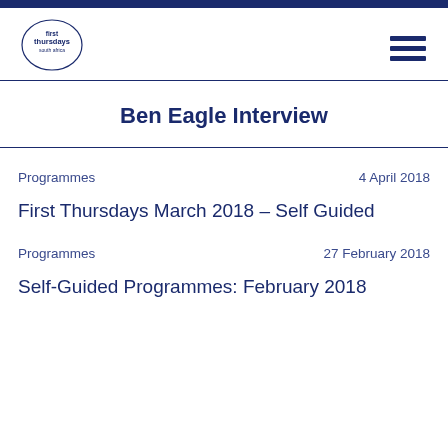[Figure (logo): First Thursdays South Africa logo — small circular emblem with text]
Ben Eagle Interview
Programmes    4 April 2018
First Thursdays March 2018 – Self Guided
Programmes    27 February 2018
Self-Guided Programmes: February 2018